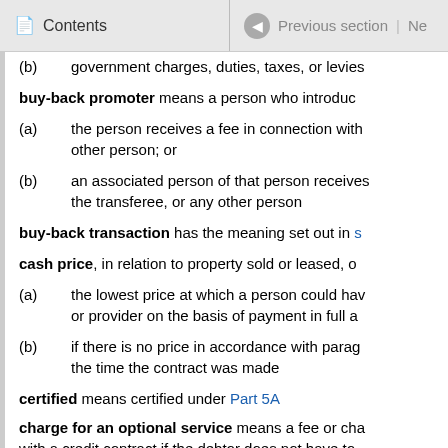Contents | Previous section | Ne
(b)   government charges, duties, taxes, or levies
buy-back promoter means a person who introduc
(a)   the person receives a fee in connection with other person; or
(b)   an associated person of that person receives the transferee, or any other person
buy-back transaction has the meaning set out in s
cash price, in relation to property sold or leased, o
(a)   the lowest price at which a person could hav or provider on the basis of payment in full a
(b)   if there is no price in accordance with parag the time the contract was made
certified means certified under Part 5A
charge for an optional service means a fee or cha with a credit contract if the debtor does not have to contract
Commission means the Commerce Commission es